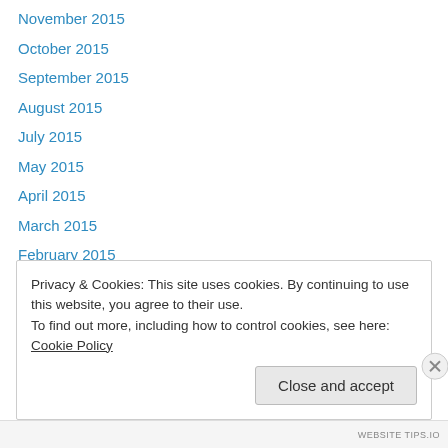November 2015
October 2015
September 2015
August 2015
July 2015
May 2015
April 2015
March 2015
February 2015
January 2015
December 2014
November 2014
October 2014
Privacy & Cookies: This site uses cookies. By continuing to use this website, you agree to their use. To find out more, including how to control cookies, see here: Cookie Policy
Close and accept